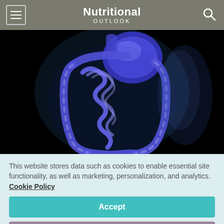Nutritional OUTLOOK
[Figure (illustration): X-ray style medical illustration of the human digestive system (stomach and intestines) on a black background, rendered in glowing blue tones]
This website stores data such as cookies to enable essential site functionality, as well as marketing, personalization, and analytics. Cookie Policy
Accept
Deny